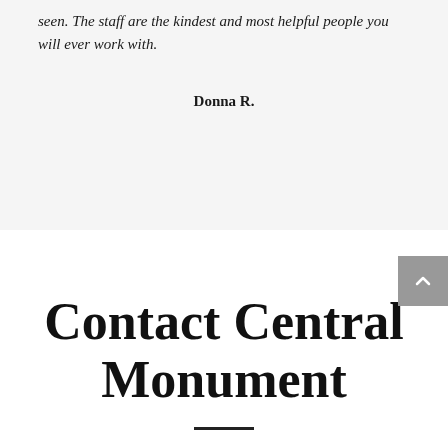seen. The staff are the kindest and most helpful people you will ever work with.
Donna R.
Contact Central Monument